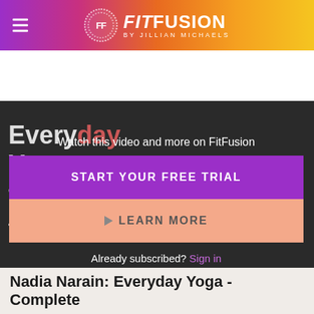FitFusion by Jillian Michaels
[Figure (screenshot): Video thumbnail showing a yoga pose in dark background with text overlay: Everyday Yoga for Stress Release with Nadia Narain]
Watch this video and more on FitFusion
START YOUR FREE TRIAL
▶ LEARN MORE
Already subscribed? Sign in
with Nadia Narain
Nadia Narain: Everyday Yoga - Complete